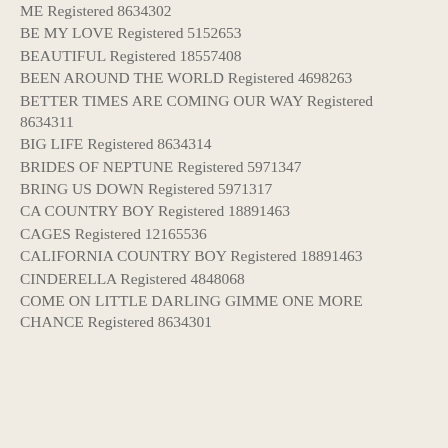ME Registered 8634302
BE MY LOVE Registered 5152653
BEAUTIFUL Registered 18557408
BEEN AROUND THE WORLD Registered 4698263
BETTER TIMES ARE COMING OUR WAY Registered 8634311
BIG LIFE Registered 8634314
BRIDES OF NEPTUNE Registered 5971347
BRING US DOWN Registered 5971317
CA COUNTRY BOY Registered 18891463
CAGES Registered 12165536
CALIFORNIA COUNTRY BOY Registered 18891463
CINDERELLA Registered 4848068
COME ON LITTLE DARLING GIMME ONE MORE CHANCE Registered 8634301